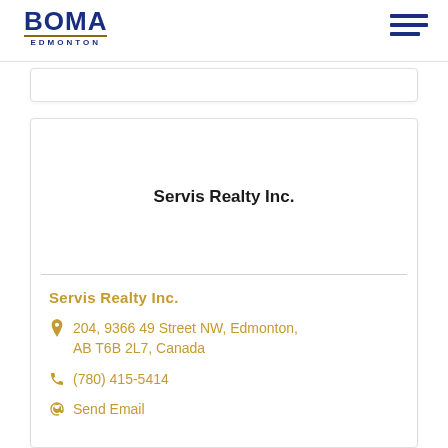BOMA EDMONTON
Servis Realty Inc.
Servis Realty Inc.
204, 9366 49 Street NW, Edmonton, AB T6B 2L7, Canada
(780) 415-5414
Send Email